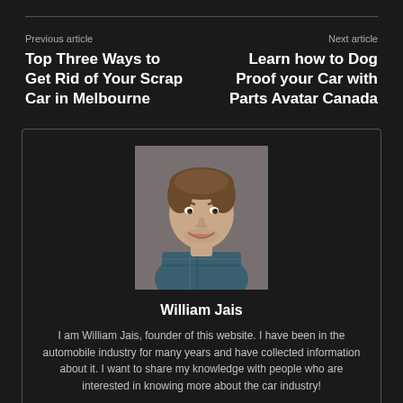Previous article
Top Three Ways to Get Rid of Your Scrap Car in Melbourne
Next article
Learn how to Dog Proof your Car with Parts Avatar Canada
[Figure (photo): Headshot of William Jais, a smiling young man in a blue plaid shirt against a grey background]
William Jais
I am William Jais, founder of this website. I have been in the automobile industry for many years and have collected information about it. I want to share my knowledge with people who are interested in knowing more about the car industry!